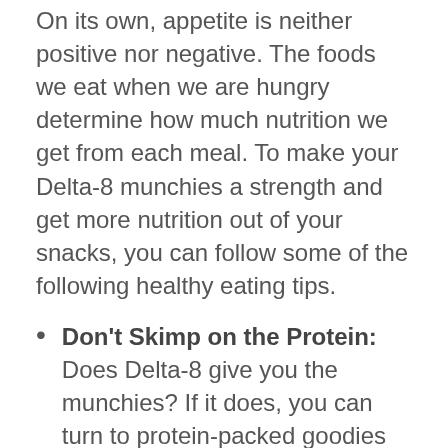On its own, appetite is neither positive nor negative. The foods we eat when we are hungry determine how much nutrition we get from each meal. To make your Delta-8 munchies a strength and get more nutrition out of your snacks, you can follow some of the following healthy eating tips.
Don't Skimp on the Protein: Does Delta-8 give you the munchies? If it does, you can turn to protein-packed goodies like lean meats or tofu.
Eat Your Vegetables: When you get the munchies, eating delicious veggies like carrot sticks, cherry tomatoes, avocados, and similar items can satisfy your appetite while providing you with valuable phytonutrients